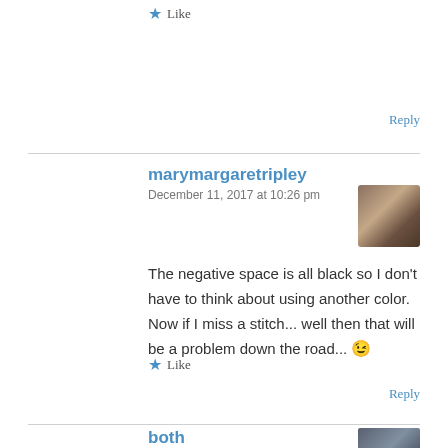★ Like
Reply
marymargaretripley
December 11, 2017 at 10:26 pm
[Figure (photo): Small avatar photo of two people]
The negative space is all black so I don't have to think about using another color. Now if I miss a stitch... well then that will be a problem down the road... 😉
★ Like
Reply